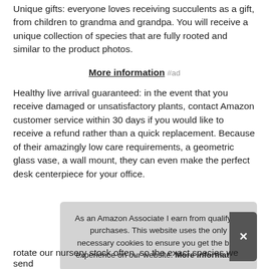Unique gifts: everyone loves receiving succulents as a gift, from children to grandma and grandpa. You will receive a unique collection of species that are fully rooted and similar to the product photos.
More information #ad
Healthy live arrival guaranteed: in the event that you receive damaged or unsatisfactory plants, contact Amazon customer service within 30 days if you would like to receive a refund rather than a quick replacement. Because of their amazingly low care requirements, a geometric glass vase, a wall mount, they can even make the perfect desk centerpiece for your office.
As an Amazon Associate I earn from qualifying purchases. This website uses the only necessary cookies to ensure you get the best experience on our website. More information
rotate our nursery stock often, so the exact species we send